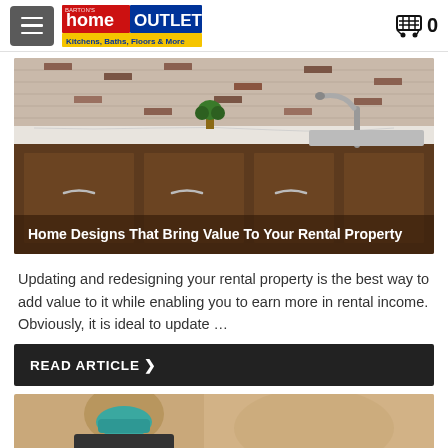Home Outlet — Kitchens, Baths, Floors & More
[Figure (photo): Kitchen counter with dark wood cabinets, white marble countertop, stainless steel faucet, and mosaic tile backsplash. Overlay text reads: Home Designs That Bring Value To Your Rental Property]
Home Designs That Bring Value To Your Rental Property
Updating and redesigning your rental property is the best way to add value to it while enabling you to earn more in rental income. Obviously, it is ideal to update …
READ ARTICLE ❯
[Figure (photo): Person wearing a teal face mask and dark blazer, partially cropped at the bottom of the page.]